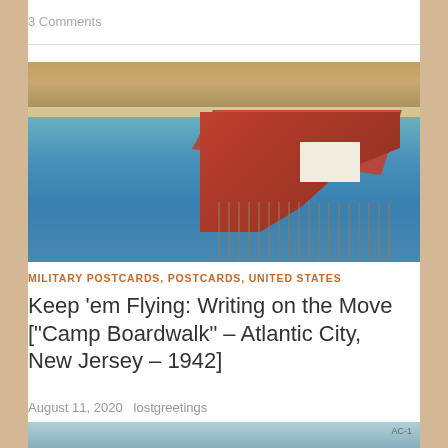3 Comments
[Figure (photo): Aerial view vintage postcard illustration of Atlantic City boardwalk and Steel Pier extending into the ocean, with red-roofed structures on the pier, beach crowded with people, and city buildings in the background]
MILITARY POSTCARDS, POSTCARDS, UNITED STATES
Keep ‘em Flying: Writing on the Move [“Camp Boardwalk” – Atlantic City, New Jersey – 1942]
August 11, 2020   lostgreetings
[Figure (photo): Partial view of another postcard image at bottom of page, showing a blue sky scene, with label AC-1 in corner]